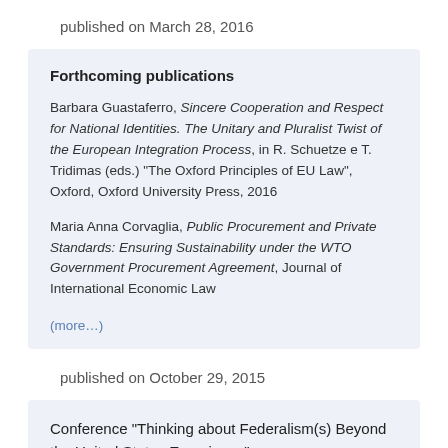published on March 28, 2016
Forthcoming publications
Barbara Guastaferro, Sincere Cooperation and Respect for National Identities. The Unitary and Pluralist Twist of the European Integration Process, in R. Schuetze e T. Tridimas (eds.) “The Oxford Principles of EU Law”, Oxford, Oxford University Press, 2016
Maria Anna Corvaglia, Public Procurement and Private Standards: Ensuring Sustainability under the WTO Government Procurement Agreement, Journal of International Economic Law
(more…)
published on October 29, 2015
Conference “Thinking about Federalism(s) Beyond the United States Experience”